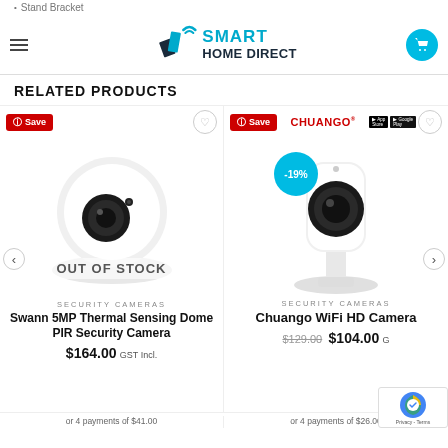Stand Bracket
Smart Home Direct
RELATED PRODUCTS
[Figure (photo): Swann 5MP security dome camera image with OUT OF STOCK overlay]
[Figure (photo): Chuango WiFi HD Camera product image]
SECURITY CAMERAS
Swann 5MP Thermal Sensing Dome PIR Security Camera
$164.00 GST Incl.
or 4 payments of $41.00
SECURITY CAMERAS
Chuango WiFi HD Camera
$129.00 $104.00 G
or 4 payments of $26.00